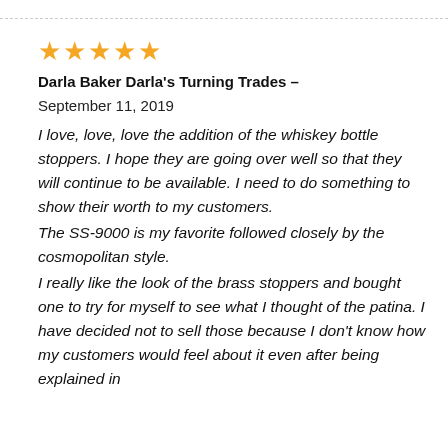[Figure (other): Five orange star rating icons]
Darla Baker Darla's Turning Trades –
September 11, 2019
I love, love, love the addition of the whiskey bottle stoppers. I hope they are going over well so that they will continue to be available. I need to do something to show their worth to my customers.
The SS-9000 is my favorite followed closely by the cosmopolitan style.
I really like the look of the brass stoppers and bought one to try for myself to see what I thought of the patina. I have decided not to sell those because I don't know how my customers would feel about it even after being explained in